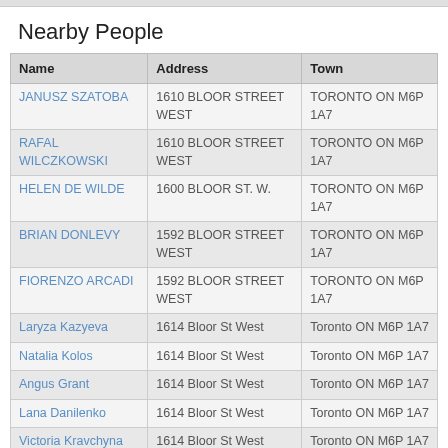Nearby People
| Name | Address | Town |
| --- | --- | --- |
| JANUSZ SZATOBA | 1610 BLOOR STREET WEST | TORONTO ON M6P 1A7 |
| RAFAL WILCZKOWSKI | 1610 BLOOR STREET WEST | TORONTO ON M6P 1A7 |
| HELEN DE WILDE | 1600 BLOOR ST. W. | TORONTO ON M6P 1A7 |
| BRIAN DONLEVY | 1592 BLOOR STREET WEST | TORONTO ON M6P 1A7 |
| FIORENZO ARCADI | 1592 BLOOR STREET WEST | TORONTO ON M6P 1A7 |
| Laryza Kazyeva | 1614 Bloor St West | Toronto ON M6P 1A7 |
| Natalia Kolos | 1614 Bloor St West | Toronto ON M6P 1A7 |
| Angus Grant | 1614 Bloor St West | Toronto ON M6P 1A7 |
| Lana Danilenko | 1614 Bloor St West | Toronto ON M6P 1A7 |
| Victoria Kravchyna | 1614 Bloor St West | Toronto ON M6P 1A7 |